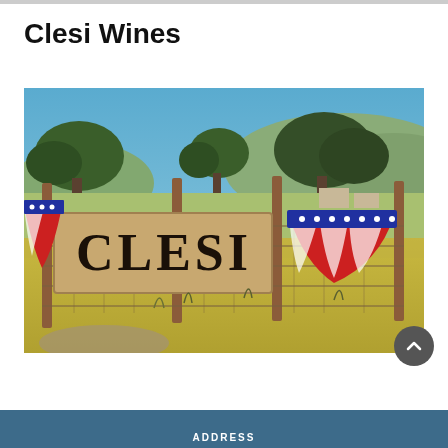Clesi Wines
[Figure (photo): Outdoor photo of the Clesi winery entrance: a rustic metal fence gate with 'CLESI' lettered on a wooden panel, flanked by American flag bunting decorations on both sides. Behind the fence is an open grassy field with oak trees and rolling hills under a clear blue sky.]
ADDRESS